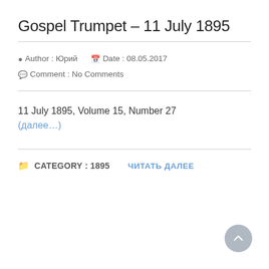Gospel Trumpet – 11 July 1895
Author : Юрий   Date : 08.05.2017
Comment : No Comments
11 July 1895, Volume 15, Number 27
(далее…)
CATEGORY : 1895   ЧИТАТЬ ДАЛЕЕ